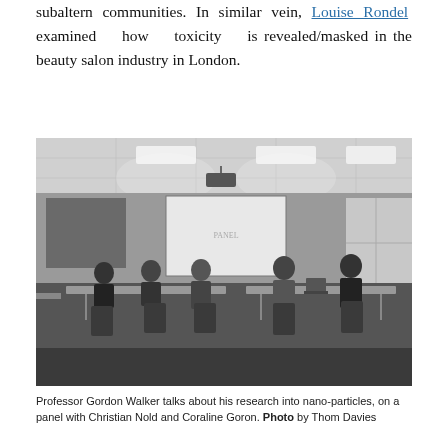subaltern communities. In similar vein, Louise Rondel examined how toxicity is revealed/masked in the beauty salon industry in London.
[Figure (photo): Black and white photograph of a conference room panel discussion. Several people are seated at tables arranged in a semi-circle. A projection screen is visible at the back of the room. Ceiling lights illuminate the room. A projector hangs from the ceiling.]
Professor Gordon Walker talks about his research into nano-particles, on a panel with Christian Nold and Coraline Goron. Photo by Thom Davies